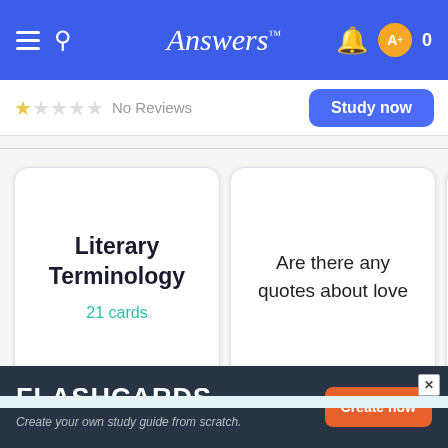Answers
No Reviews — Study now
[Figure (screenshot): Two flashcard set cards: 'Literary Terminology 21 cards' and 'Are there any quotes about love', with a partial third card]
No Reviews — Study now
FLASHCARDS — Create your own study guide from scratch. — Create now